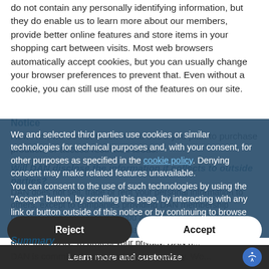do not contain any personally identifying information, but they do enable us to learn more about our members, provide better online features and store items in your shopping cart between visits. Most web browsers automatically accept cookies, but you can usually change your browser preferences to prevent that. Even without a cookie, you can still use most of the features on our site.
Notice
However, we do not recommend this if you plan to purchase products or access restricted areas.
Will DAN disclose the information it collects to outside parties?
DAN does not sell, trade or rent your personal information to others, except to companies providing DAN membership benefits. As a DAN Member, you are eligible to apply for, or receive, a number of benefits that are provided by companies other than DAN. To protect your privacy, DAN has...
We and selected third parties use cookies or similar technologies for technical purposes and, with your consent, for other purposes as specified in the cookie policy. Denying consent may make related features unavailable.
You can consent to the use of such technologies by using the "Accept" button, by scrolling this page, by interacting with any link or button outside of this notice or by continuing to browse otherwise.
Reject
Accept
Learn more and customize
Summary
DAN is committed to protecting your privacy. We...